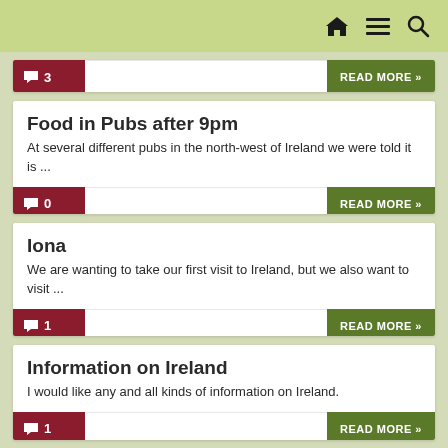Navigation header with home, menu, and search icons
[Figure (screenshot): Top card footer with comment badge showing 3 and READ MORE button]
Food in Pubs after 9pm
At several different pubs in the north-west of Ireland we were told it is ...
0 READ MORE »
Iona
We are wanting to take our first visit to Ireland, but we also want to visit ...
1 READ MORE »
Information on Ireland
I would like any and all kinds of information on Ireland.
1 READ MORE »